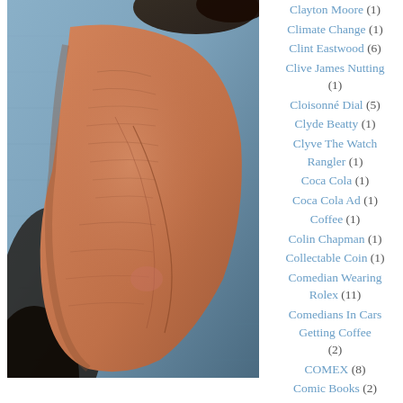[Figure (photo): Close-up photograph of an elderly person's knee or elbow joint, showing wrinkled skin, against a blue denim background]
Clayton Moore (1)
Climate Change (1)
Clint Eastwood (6)
Clive James Nutting (1)
Cloisonné Dial (5)
Clyde Beatty (1)
Clyve The Watch Rangler (1)
Coca Cola (1)
Coca Cola Ad (1)
Coffee (1)
Colin Chapman (1)
Collectable Coin (1)
Comedian Wearing Rolex (11)
Comedians In Cars Getting Coffee (2)
COMEX (8)
Comic Books (2)